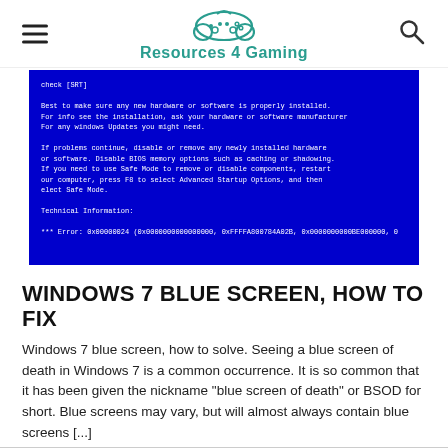Resources 4 Gaming
[Figure (screenshot): Windows 7 Blue Screen of Death (BSOD) screenshot showing white text on blue background with error codes including 0x00000024 and memory addresses]
WINDOWS 7 BLUE SCREEN, HOW TO FIX
Windows 7 blue screen, how to solve. Seeing a blue screen of death in Windows 7 is a common occurrence. It is so common that it has been given the nickname "blue screen of death" or BSOD for short. Blue screens may vary, but will almost always contain blue screens [...]